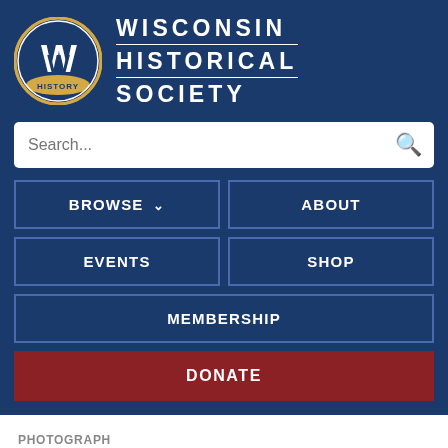[Figure (logo): Wisconsin Historical Society logo with stylized W on a baseball/shield emblem and text WISCONSIN HISTORICAL SOCIETY]
Search...
BROWSE
ABOUT
EVENTS
SHOP
MEMBERSHIP
DONATE
PHOTOGRAPH
Congressional Committee at Lincoln Funeral